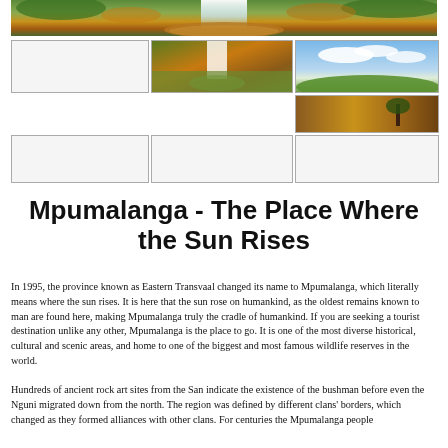[Figure (photo): Top banner panoramic photo of a waterfall with orange/brown water pool, surrounded by green and orange vegetation]
[Figure (photo): Thumbnail: empty/placeholder box (no visible image)]
[Figure (photo): Thumbnail: waterfall in a rocky gorge with autumn orange and green trees]
[Figure (photo): Thumbnail: panoramic landscape with blue sky, white clouds, and green hills]
[Figure (photo): Thumbnail: brown/golden landscape with a tree silhouette]
[Figure (photo): Thumbnail: empty/placeholder box]
[Figure (photo): Thumbnail: empty/placeholder box]
[Figure (photo): Thumbnail: empty/placeholder box]
Mpumalanga - The Place Where the Sun Rises
In 1995, the province known as Eastern Transvaal changed its name to Mpumalanga, which literally means where the sun rises. It is here that the sun rose on humankind, as the oldest remains known to man are found here, making Mpumalanga truly the cradle of humankind. If you are seeking a tourist destination unlike any other, Mpumalanga is the place to go. It is one of the most diverse historical, cultural and scenic areas, and home to one of the biggest and most famous wildlife reserves in the world.
Hundreds of ancient rock art sites from the San indicate the existence of the bushman before even the Nguni migrated down from the north. The region was defined by different clans' borders, which changed as they formed alliances with other clans. For centuries the Mpumalanga people were accommodating, not realizing the province owned a bed for their wealth.